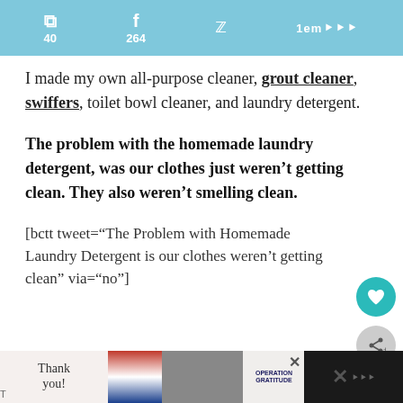Pinterest 40 | Facebook 264 | Twitter | logo
I made my own all-purpose cleaner, grout cleaner, swiffers, toilet bowl cleaner, and laundry detergent.
The problem with the homemade laundry detergent, was our clothes just weren't getting clean. They also weren't smelling clean.
[bctt tweet="The Problem with Homemade Laundry Detergent is our clothes weren't getting clean" via="no"]
[Figure (screenshot): Advertisement banner - Operation Gratitude 'Thank you!' with military imagery]